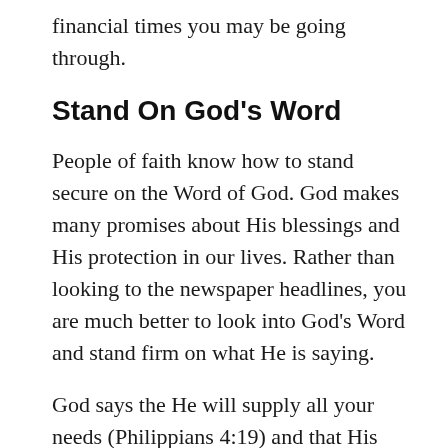financial times you may be going through.
Stand On God's Word
People of faith know how to stand secure on the Word of God. God makes many promises about His blessings and His protection in our lives. Rather than looking to the newspaper headlines, you are much better to look into God's Word and stand firm on what He is saying.
God says the He will supply all your needs (Philippians 4:19) and that His blessing meets your needs without bringing you sorrow (Proverbs 10:22).
Look To God
People seek to protect what they have and to build